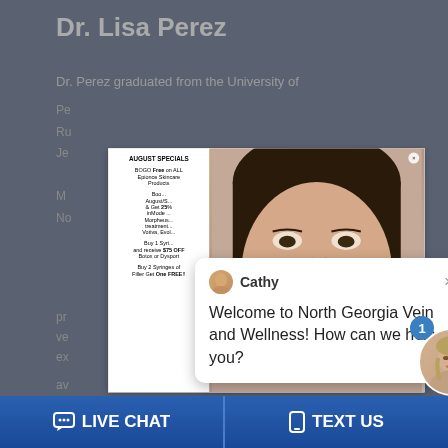Dr. Lisa Perez
Dr. Perez graduated from the University of
[Figure (screenshot): Modal popup showing August Specials promotional content on the left (BOGO Free on Epionce Skincare Products, 25% OFF inMode treatments, Buy 1 Syringe get $75 OFF Botox or Dysport, Buy 2 Syringes of Filler Get One FREE) and a close-up photo of a woman's face on the right, with a green Request an Appointment button]
[Figure (screenshot): Chat widget popup from Cathy saying 'Welcome to North Georgia Vein and Wellness! How can we help you?' with close button]
[Figure (screenshot): Online Agent avatar showing a smiling woman with green online indicator dot and blue Online Agent label, with notification badge showing '1']
LIVE CHAT   TEXT US